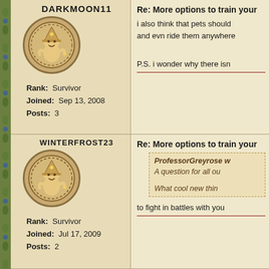DARKMOON11
Rank: Survivor
Joined: Sep 13, 2008
Posts: 3
Re: More options to train your
i also think that pets should and evn ride them anywhere
P.S. i wonder why there isn
WINTERFROST23
Rank: Survivor
Joined: Jul 17, 2009
Posts: 2
Re: More options to train your
ProfessorGreyrose w
A question for all ou
What cool new thin
to fight in battles with you